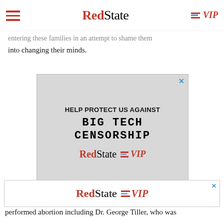RedState | VIP
entering these families in an attempt to shame them into changing their minds.
[Figure (screenshot): RedState VIP advertisement: 'HELP PROTECT US AGAINST BIG TECH CENSORSHIP' with RedState VIP logo on stone/concrete textured background]
[Figure (screenshot): RedState VIP bottom banner advertisement]
performed abortion including Dr. George Tiller, who was